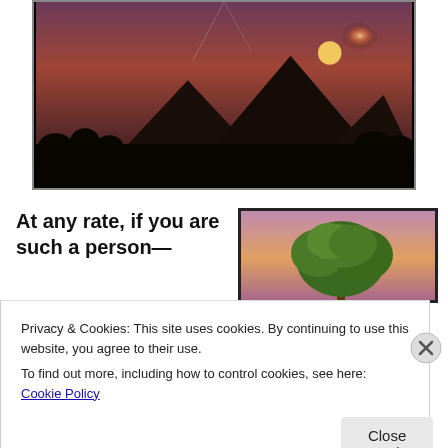[Figure (photo): Sunset photo of Egyptian pyramids at Giza silhouetted against a hazy orange-purple sky with a glowing sun.]
At any rate, if you are such a person—
[Figure (photo): A green tree against a purple sunset sky.]
Privacy & Cookies: This site uses cookies. By continuing to use this website, you agree to their use.
To find out more, including how to control cookies, see here: Cookie Policy
Close and accept